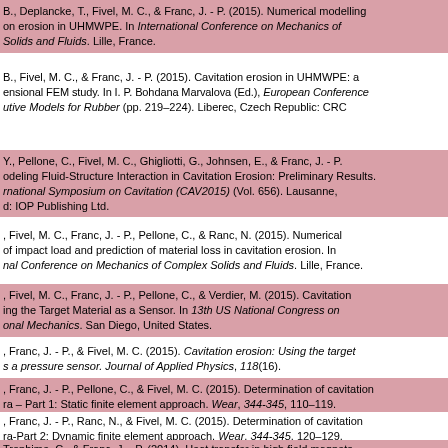B., Deplancke, T., Fivel, M. C., & Franc, J. - P. (2015). Numerical modelling on erosion in UHMWPE. In International Conference on Mechanics of Solids and Fluids. Lille, France.
B., Fivel, M. C., & Franc, J. - P. (2015). Cavitation erosion in UHMWPE: a ensional FEM study. In I. P. Bohdana Marvalova (Ed.), European Conference utive Models for Rubber (pp. 219–224). Liberec, Czech Republic: CRC
Y., Pellone, C., Fivel, M. C., Ghigliotti, G., Johnsen, E., & Franc, J. - P. odeling Fluid-Structure Interaction in Cavitation Erosion: Preliminary Results. rnational Symposium on Cavitation (CAV2015) (Vol. 656). Lausanne, d: IOP Publishing Ltd.
, Fivel, M. C., Franc, J. - P., Pellone, C., & Ranc, N. (2015). Numerical of impact load and prediction of material loss in cavitation erosion. In nal Conference on Mechanics of Complex Solids and Fluids. Lille, France.
, Fivel, M. C., Franc, J. - P., Pellone, C., & Verdier, M. (2015). Cavitation ing the Target Material as a Sensor. In 13th US National Congress on onal Mechanics. San Diego, United States.
, Franc, J. - P., & Fivel, M. C. (2015). Cavitation erosion: Using the target s a pressure sensor. Journal of Applied Physics, 118(16).
, Franc, J. - P., Pellone, C., & Fivel, M. C. (2015). Determination of cavitation ra – Part 1: Static finite element approach. Wear, 344-345, 110–119.
, Franc, J. - P., Ranc, N., & Fivel, M. C. (2015). Determination of cavitation ra-Part 2: Dynamic finite element approach. Wear, 344-345, 120–129.
Trophime, C., & Franc, J. - P. (2014). Heat transfer in high field magnets.